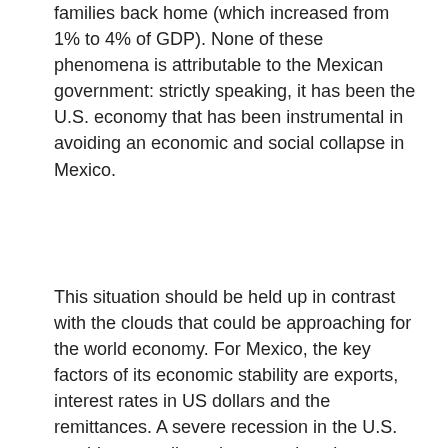families back home  (which increased from 1% to 4% of GDP). None of these phenomena is attributable to the Mexican government: strictly speaking, it has been the U.S. economy that has been instrumental in avoiding an economic and social collapse in Mexico.
This situation should be held up in contrast with the clouds that could be approaching for the world economy. For Mexico, the key factors of its economic stability are exports, interest rates in US dollars and the remittances.  A severe recession in the U.S. would pose a direct threat against these three factors, inverting the panorama that has characterized the economy in recent years.
The absence of a strategy of development, the unnecessary polarization and the alienation of the U.S. government as well as of investors desirous of diversifying themselves on confronting the conflict of the U.S. with China, now become a huge risk of recession and impoverishment, not exactly the panorama